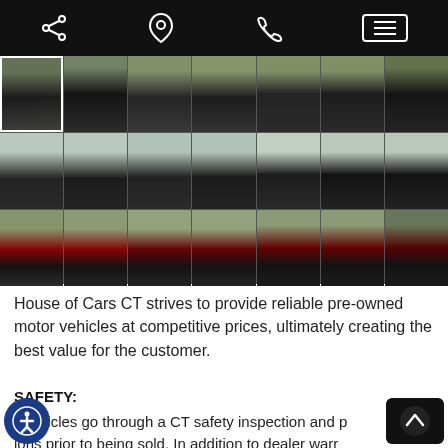[Figure (screenshot): Mobile website navigation bar with share icon, location pin, phone icon, and menu button on black background]
[Figure (photo): Grid of 21 car photos showing a black sedan from various angles in a parking lot setting]
House of Cars CT strives to provide reliable pre-owned motor vehicles at competitive prices, ultimately creating the best value for the customer.
SAFETY:
r vehicles go through a CT safety inspection and p…ions prior to being sold. In addition to dealer warr……icted by the state of CT, each car also before thi…